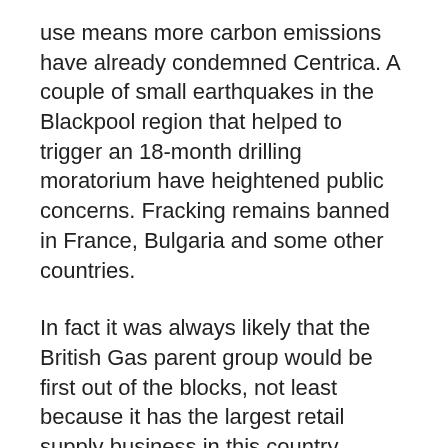use means more carbon emissions have already condemned Centrica. A couple of small earthquakes in the Blackpool region that helped to trigger an 18-month drilling moratorium have heightened public concerns. Fracking remains banned in France, Bulgaria and some other countries.
In fact it was always likely that the British Gas parent group would be first out of the blocks, not least because it has the largest retail supply business in this country.
Equally, if anyone is going to have the inside track on what government is thinking about the future taxation structure planned for a shale gas regime, it is going to be homegrown Sam Laidlaw, chief executive of Centrica, rather than say Peter Voser, the boss of Shell, who spends much more time in The Hague than London.